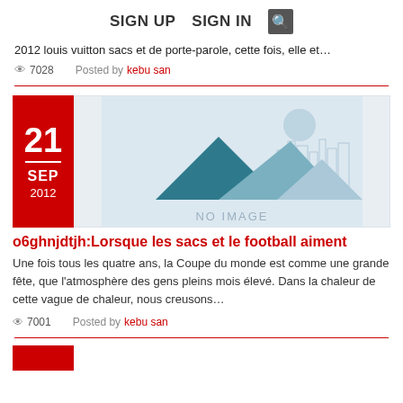SIGN UP   SIGN IN  🔍
2012 louis vuitton sacs et de porte-parole, cette fois, elle et…
👁 7028   Posted by kebu san
[Figure (illustration): Date badge showing 21 SEP 2012 in red box alongside a placeholder image with mountain silhouettes and NO IMAGE text]
o6ghnjdtjh:Lorsque les sacs et le football aiment
Une fois tous les quatre ans, la Coupe du monde est comme une grande fête, que l'atmosphère des gens pleins mois élevé. Dans la chaleur de cette vague de chaleur, nous creusons…
👁 7001   Posted by kebu san